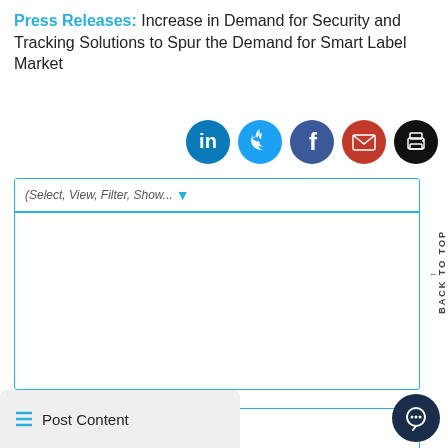Press Releases: Increase in Demand for Security and Tracking Solutions to Spur the Demand for Smart Label Market
[Figure (infographic): Row of social media sharing icons: LinkedIn (blue), Twitter (light blue), Facebook (dark blue), Email (red), Print (black)]
(Select, View, Filter, Show…)
Report
Traffic Road Marking Coatings Market: Information by Product (Paint, T →
Post Content